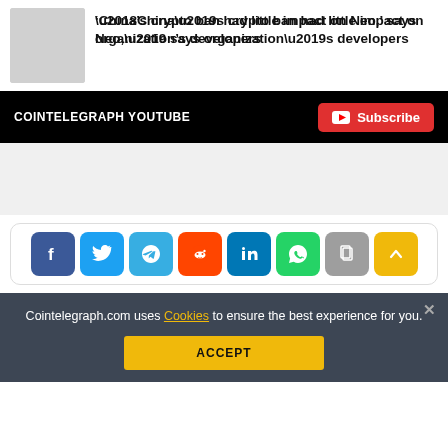[Figure (illustration): Article thumbnail image placeholder (gray box)]
‘China’s crypto ban had little impact on Neo,’ says organization’s developers
COINTELEGRAPH YOUTUBE
[Figure (screenshot): YouTube subscribe button bar with red Subscribe button and YouTube play icon]
[Figure (screenshot): Social media share buttons: Facebook, Twitter, Telegram, Reddit, LinkedIn, WhatsApp, Copy, Scroll-up]
Cointelegraph.com uses Cookies to ensure the best experience for you.
ACCEPT